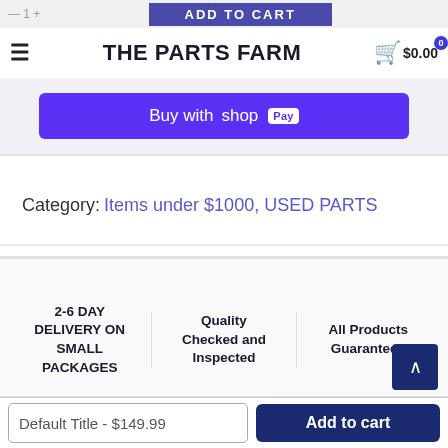THE PARTS FARM — $0.00 cart
[Figure (screenshot): Buy with Shop Pay button (purple background)]
Category: Items under $1000, USED PARTS
2-6 DAY DELIVERY ON SMALL PACKAGES
Quality Checked and Inspected
All Products Guaranteed
SHARE
Default Title - $149.99
Add to cart